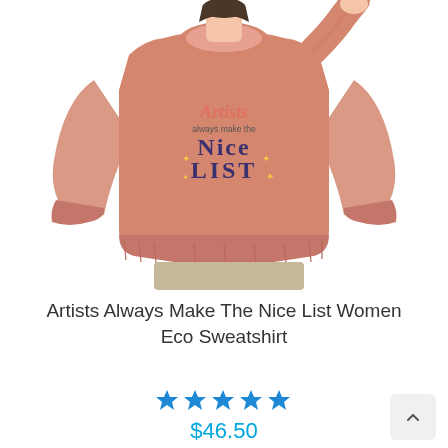[Figure (photo): Woman wearing a pink sweatshirt with the text 'Artists always make the Nice List' printed on the front, paired with khaki pants, white background]
Artists Always Make The Nice List Women Eco Sweatshirt
★★★★★
$46.50